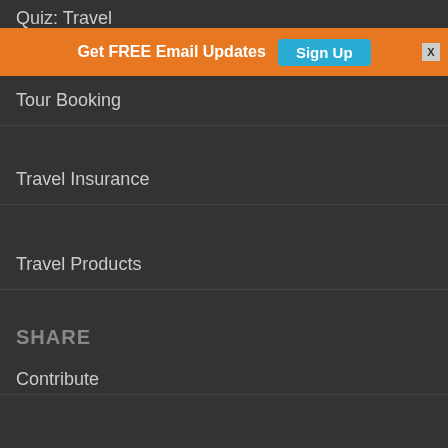Quiz: Travel
[Figure (screenshot): Orange banner with 'Get FREE Email Updates' text and a teal 'Sign Up' button, with an X close button]
Tour Booking
Travel Insurance
Travel Products
SHARE
Contribute
Forums
Links
Photos
ABOUT